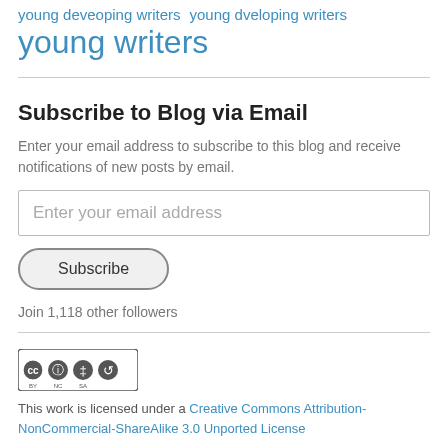young deveoping writers young dveloping writers young writers
Subscribe to Blog via Email
Enter your email address to subscribe to this blog and receive notifications of new posts by email.
Enter your email address
Subscribe
Join 1,118 other followers
[Figure (logo): Creative Commons BY-NC-SA license badge with cc, person, dollar-sign-crossed, and share-alike icons]
This work is licensed under a Creative Commons Attribution-NonCommercial-ShareAlike 3.0 Unported License